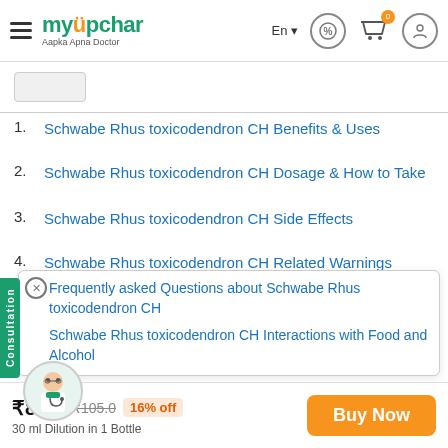myUpchar - Aapka Apna Doctor
1. Schwabe Rhus toxicodendron CH Benefits & Uses
2. Schwabe Rhus toxicodendron CH Dosage & How to Take
3. Schwabe Rhus toxicodendron CH Side Effects
4. Schwabe Rhus toxicodendron CH Related Warnings
Frequently asked Questions about Schwabe Rhus toxicodendron CH
Schwabe Rhus toxicodendron CH Interactions with Food and Alcohol
Schwabe Rhus toxicodendron Dilution
₹88.0  ₹105.0  16% off  30 ml Dilution in 1 Bottle